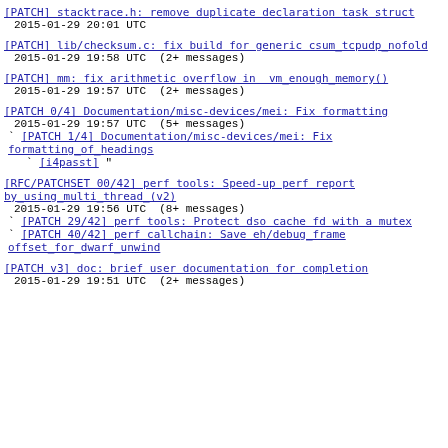[PATCH] stacktrace.h: remove duplicate declaration task struct
  2015-01-29 20:01 UTC
[PATCH] lib/checksum.c: fix build for generic csum tcpudp nofold
  2015-01-29 19:58 UTC  (2+ messages)
[PATCH] mm: fix arithmetic overflow in vm_enough_memory()
  2015-01-29 19:57 UTC  (2+ messages)
[PATCH 0/4] Documentation/misc-devices/mei: Fix formatting
  2015-01-29 19:57 UTC  (5+ messages)
  ` [PATCH 1/4] Documentation/misc-devices/mei: Fix formatting of headings
      ` [i4passt] "
[RFC/PATCHSET 00/42] perf tools: Speed-up perf report by using multi thread (v2)
  2015-01-29 19:56 UTC  (8+ messages)
  ` [PATCH 29/42] perf tools: Protect dso cache fd with a mutex
  ` [PATCH 40/42] perf callchain: Save eh/debug frame offset for dwarf unwind
[PATCH v3] doc: brief user documentation for completion
  2015-01-29 19:51 UTC  (2+ messages)